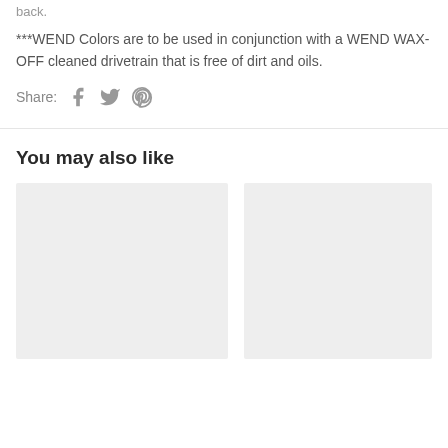back.
***WEND Colors are to be used in conjunction with a WEND WAX-OFF cleaned drivetrain that is free of dirt and oils.
Share:
You may also like
[Figure (photo): Product image placeholder (light gray rectangle)]
[Figure (photo): Product image placeholder (light gray rectangle)]